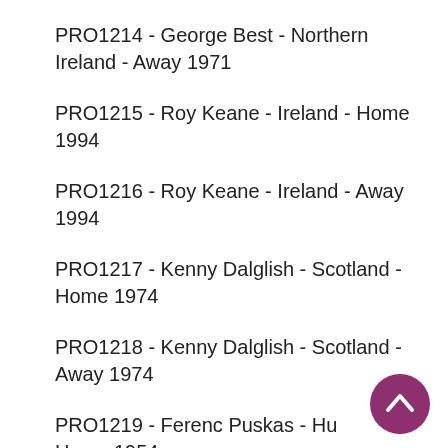PRO1214 - George Best - Northern Ireland - Away 1971
PRO1215 - Roy Keane - Ireland - Home 1994
PRO1216 - Roy Keane - Ireland - Away 1994
PRO1217 - Kenny Dalglish - Scotland - Home 1974
PRO1218 - Kenny Dalglish - Scotland - Away 1974
PRO1219 - Ferenc Puskas - Hungary - Home 1954
[Figure (illustration): Back to top button - circular purple button with white upward chevron arrow]